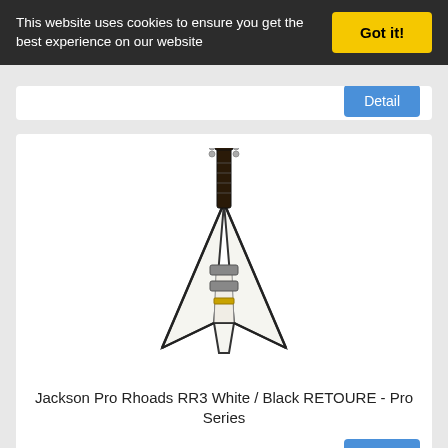This website uses cookies to ensure you get the best experience on our website
Got it!
[Figure (photo): Jackson Pro Rhoads RR3 White/Black electric guitar with V-shaped body]
Jackson Pro Rhoads RR3 White / Black RETOURE - Pro Series
Detail
[Figure (photo): Jackson Pro Rhoads RRT electric guitar, ivory with black outline, V-shaped body]
Jackson Pro Rhoads RRT 2 E-gitarre, Ivory mit